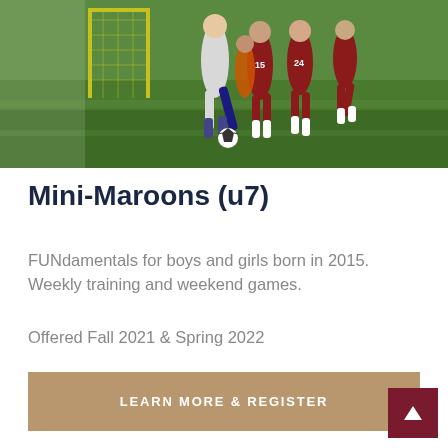[Figure (photo): Youth soccer players running on a grass field, with some players in maroon uniforms and one in white, near a goal post]
Mini-Maroons (u7)
FUNdamentals for boys and girls born in 2015. Weekly training and weekend games.
Offered Fall 2021 & Spring 2022
LEARN MORE & REGISTER